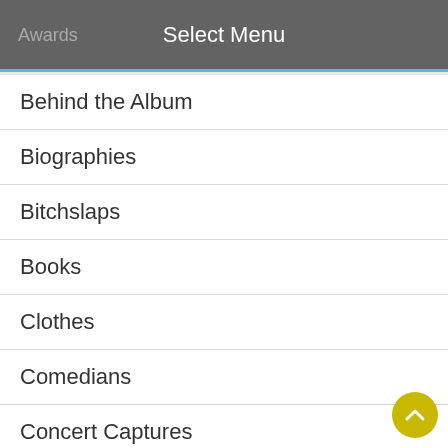Select Menu
Behind the Album
Biographies
Bitchslaps
Books
Clothes
Comedians
Concert Captures
Concert Tickets
Cool Chitz
Craft Beers
Documentaries